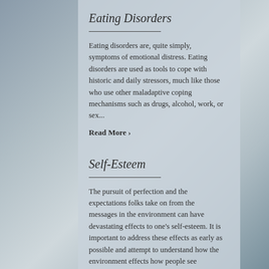Eating Disorders
Eating disorders are, quite simply, symptoms of emotional distress. Eating disorders are used as tools to cope with historic and daily stressors, much like those who use other maladaptive coping mechanisms such as drugs, alcohol, work, or sex...
Read More >
Self-Esteem
The pursuit of perfection and the expectations folks take on from the messages in the environment can have devastating effects to one's self-esteem. It is important to address these effects as early as possible and attempt to understand how the environment effects how people see themselves.
Read More >